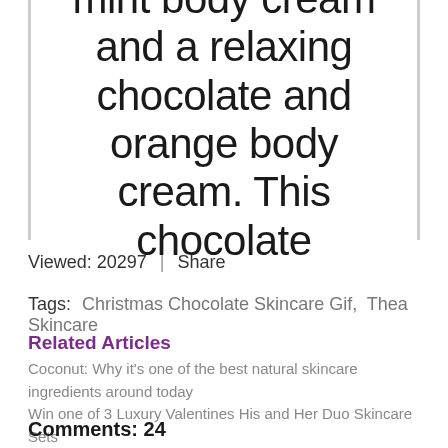mint body cream and a relaxing chocolate and orange body cream. This chocolate
Viewed: 20297 | Share
Tags:  Christmas Chocolate Skincare Gif,  Thea Skincare
Related Articles
Coconut: Why it's one of the best natural skincare ingredients around today
Win one of 3 Luxury Valentines His and Her Duo Skincare Sets
Comments: 24
sallyann Johnston
01/01/1970